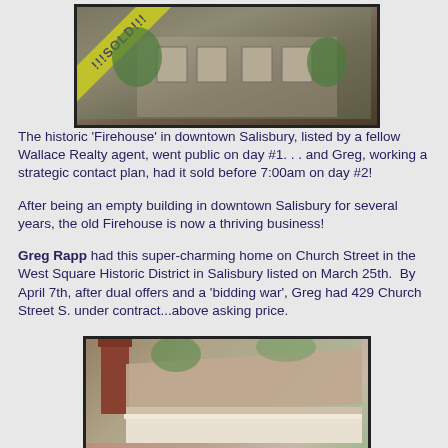[Figure (photo): Photo of the historic Firehouse building in downtown Salisbury with a yellow '!!!SOLD!!!' banner across the top-left corner]
The historic 'Firehouse' in downtown Salisbury, listed by a fellow Wallace Realty agent, went public on day #1. . . and Greg, working a strategic contact plan, had it sold before 7:00am on day #2!
After being an empty building in downtown Salisbury for several years, the old Firehouse is now a thriving business!
Greg Rapp had this super-charming home on Church Street in the West Square Historic District in Salisbury listed on March 25th.  By April 7th, after dual offers and a 'bidding war', Greg had 429 Church Street S. under contract...above asking price.
[Figure (photo): Photo of a charming historic home on Church Street showing brick chimney and roof detail]